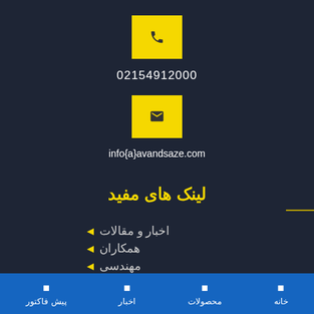[Figure (other): Yellow square box with phone icon]
02154912000
[Figure (other): Yellow square box with envelope/email icon]
info{a}avandsaze.com
لینک های مفید
اخبار و مقالات
همکاران
مهندسی
خانه  محصولات  اخبار  پیش فاکتور